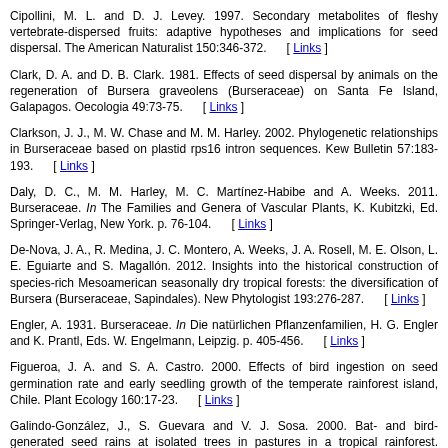Cipollini, M. L. and D. J. Levey. 1997. Secondary metabolites of fleshy vertebrate-dispersed fruits: adaptive hypotheses and implications for seed dispersal. The American Naturalist 150:346-372. [ Links ]
Clark, D. A. and D. B. Clark. 1981. Effects of seed dispersal by animals on the regeneration of Bursera graveolens (Burseraceae) on Santa Fe Island, Galapagos. Oecologia 49:73-75. [ Links ]
Clarkson, J. J., M. W. Chase and M. M. Harley. 2002. Phylogenetic relationships in Burseraceae based on plastid rps16 intron sequences. Kew Bulletin 57:183-193. [ Links ]
Daly, D. C., M. M. Harley, M. C. Martínez-Habibe and A. Weeks. 2011. Burseraceae. In The Families and Genera of Vascular Plants, K. Kubitzki, Ed. Springer-Verlag, New York. p. 76-104. [ Links ]
De-Nova, J. A., R. Medina, J. C. Montero, A. Weeks, J. A. Rosell, M. E. Olson, L. E. Eguiarte and S. Magallón. 2012. Insights into the historical construction of species-rich Mesoamerican seasonally dry tropical forests: the diversification of Bursera (Burseraceae, Sapindales). New Phytologist 193:276-287. [ Links ]
Engler, A. 1931. Burseraceae. In Die natürlichen Pflanzenfamilien, H. G. Engler and K. Prantl, Eds. W. Engelmann, Leipzig. p. 405-456. [ Links ]
Figueroa, J. A. and S. A. Castro. 2000. Effects of bird ingestion on seed germination rate and early seedling growth of the temperate rainforest island, Chile. Plant Ecology 160:17-23. [ Links ]
Galindo-González, J., S. Guevara and V. J. Sosa. 2000. Bat- and bird- generated seed rains at isolated trees in pastures in a tropical rainforest. Conservation Biology 14:1693-1703. [ Links ]
Gómez-Garzón, A. 2002. Caracterización del medio físico de la cuenca del Río Tijuana. Instituto Mexicano de Tecnología del Agua, Laboratorio de Sistemas de Información Geográfica. http://selper.uabc.mx/Publicacio/Cong11/extenso42.doc; last access: 18V.2004.